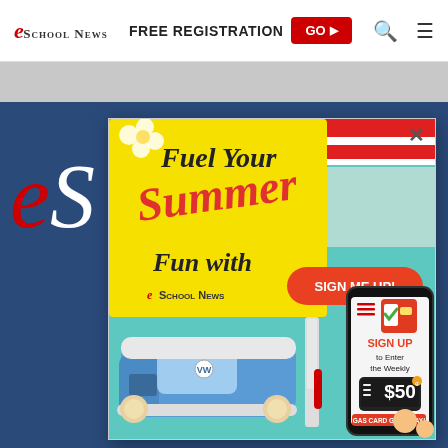eSchool News | FREE REGISTRATION GO
[Figure (illustration): Promotional popup advertisement for eSchool News summer giveaway. Yellow banner reads 'Fuel Your Summer Fun with eSchool News' with a red 'SIGN ME UP!' button. Shows an illustrated blue VW van at a gas station and a smartphone with text 'SIGN UP to Enter the Weekly $50 GAS CARD GIVEAWAY!']
[Figure (logo): Partial eSchool News large logo visible behind popup on dark blue background]